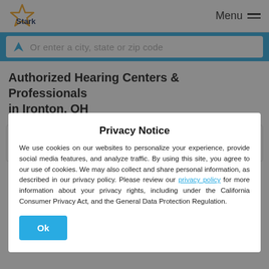[Figure (logo): Starkey logo with yellow star and dark blue text]
Menu
Or enter a city, state or zip code
Authorized Hearing Centers & Professionals in Ironton, OH
TRI SOUND HEARING AID CO   0.1 mi
118 N 4TH ST
Privacy Notice
We use cookies on our websites to personalize your experience, provide social media features, and analyze traffic. By using this site, you agree to our use of cookies. We may also collect and share personal information, as described in our privacy policy. Please review our privacy policy for more information about your privacy rights, including under the California Consumer Privacy Act, and the General Data Protection Regulation.
Ok